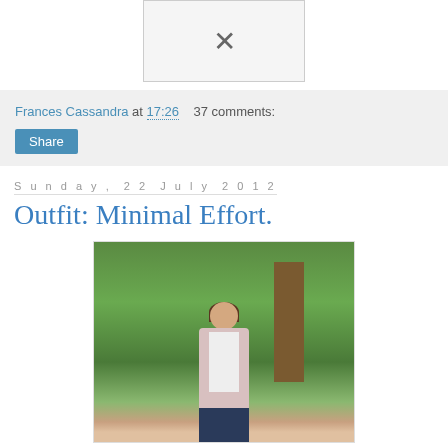[Figure (photo): Broken image placeholder with an X icon on light gray background]
Frances Cassandra at 17:26   37 comments:
Share
Sunday, 22 July 2012
Outfit: Minimal Effort.
[Figure (photo): Young woman with long brown hair wearing a pink striped cardigan over a white top and dark jeans, standing outdoors in front of green trees]